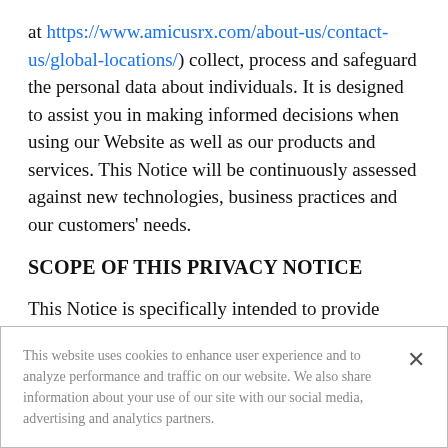at https://www.amicusrx.com/about-us/contact-us/global-locations/) collect, process and safeguard the personal data about individuals. It is designed to assist you in making informed decisions when using our Website as well as our products and services. This Notice will be continuously assessed against new technologies, business practices and our customers' needs.
SCOPE OF THIS PRIVACY NOTICE
This Notice is specifically intended to provide information for our Website users, Amicus
This website uses cookies to enhance user experience and to analyze performance and traffic on our website. We also share information about your use of our site with our social media, advertising and analytics partners.